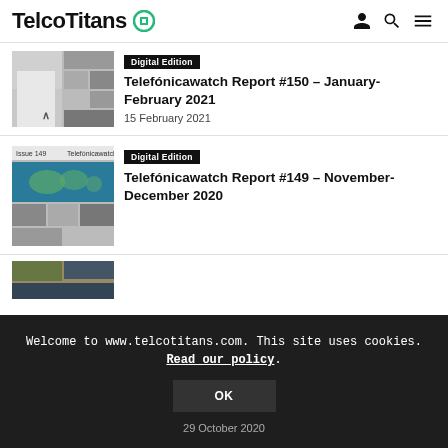TelcoTitans
[Figure (screenshot): Thumbnail image for Telefónicawatch Report #150, showing person in white shirt and collage of photos]
Digital Edition
Telefónicawatch Report #150 – January-February 2021
15 February 2021
[Figure (screenshot): Thumbnail image for Telefónicawatch Report #149, showing world map and collage of photos]
Digital Edition
Telefónicawatch Report #149 – November-December 2020
29 October 2020
Welcome to www.telcotitans.com. This site uses cookies. Read our policy. OK